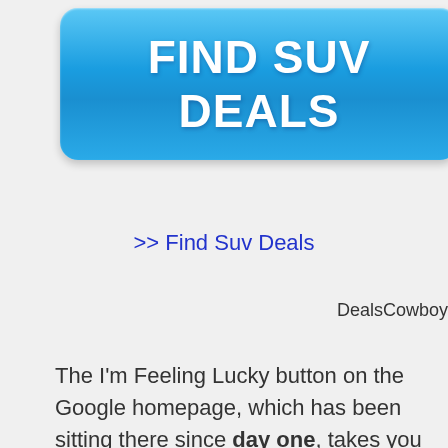[Figure (other): Blue button with text FIND SUV DEALS]
>> Find Suv Deals
DealsCowboy
The I'm Feeling Lucky button on the Google homepage, which has been sitting there since day one, takes you directly to the first search result completely bypassing Google's search results